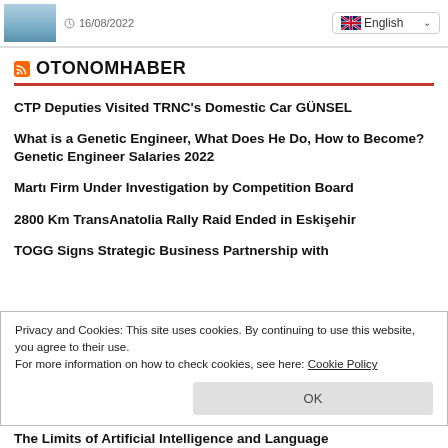16/08/2022 | English
OTONOMHABER
CTP Deputies Visited TRNC's Domestic Car GÜNSEL
What is a Genetic Engineer, What Does He Do, How to Become? Genetic Engineer Salaries 2022
Martı Firm Under Investigation by Competition Board
2800 Km TransAnatolia Rally Raid Ended in Eskişehir
TOGG Signs Strategic Business Partnership with
Privacy and Cookies: This site uses cookies. By continuing to use this website, you agree to their use.
For more information on how to check cookies, see here: Cookie Policy
The Limits of Artificial Intelligence and Language